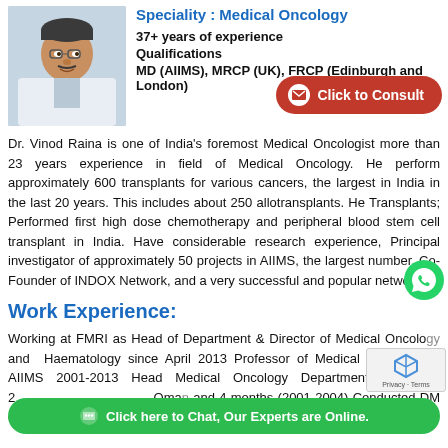[Figure (photo): Photo of Dr. Vinod Raina, male doctor in white coat]
Speciality : Medical Oncology
37+ years of experience
Qualifications
MD (AIIMS), MRCP (UK), FRCP (Edinburgh and London)
[Figure (other): Click to Consult button - red pill-shaped button with mail icon]
Dr. Vinod Raina is one of India's foremost Medical Oncologist more than 23 years experience in field of Medical Oncology. He perform approximately 600 transplants for various cancers, the largest in India in the last 20 years. This includes about 250 allotransplants. He Transplants; Performed first high dose chemotherapy and peripheral blood stem cell transplant in India. Have considerable research experience, Principal investigator of approximately 50 projects in AIIMS, the largest number. Co-Founder of INDOX Network, and a very successful and popular network.
Work Experience:
Working at FMRI as Head of Department & Director of Medical Oncology and Haematology since April 2013 Professor of Medical Oncology at AIIMS 2001-2013 Head Medical Oncology Department at AIIMS 2... Oman... and 4 months (2001-2004) Conducted DM course in Medical Oncology for
[Figure (other): WhatsApp green circle icon]
[Figure (other): Green chat bar: Click here to Chat, Our Experts are Online.]